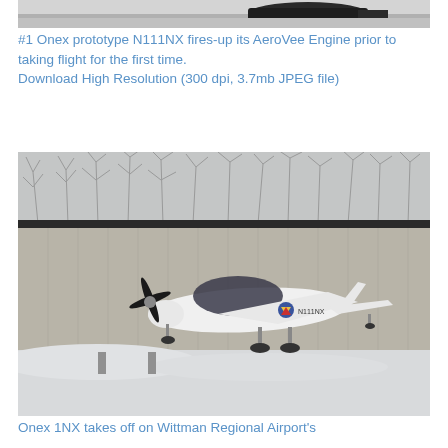[Figure (photo): Top portion of a photo showing a dark car or vehicle on a light background, partially cropped.]
#1 Onex prototype N111NX fires-up its AeroVee Engine prior to taking flight for the first time. Download High Resolution (300 dpi, 3.7mb JPEG file)
[Figure (photo): A white small aircraft (Onex 1NX) taking off at Wittman Regional Airport in winter conditions, with snow on the ground and bare trees in the background. The aircraft has the registration N111NX visible on its side.]
Onex 1NX takes off on Wittman Regional Airport's